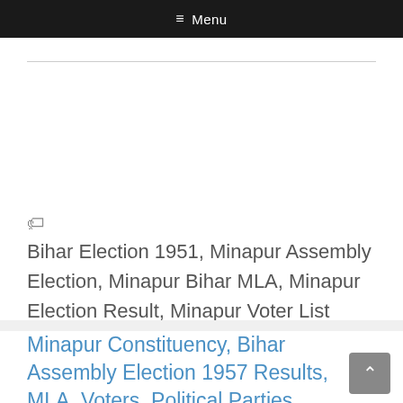≡ Menu
Bihar Election 1951, Minapur Assembly Election, Minapur Bihar MLA, Minapur Election Result, Minapur Voter List
Minapur Constituency, Bihar Assembly Election 1957 Results, MLA, Voters, Political Parties Data